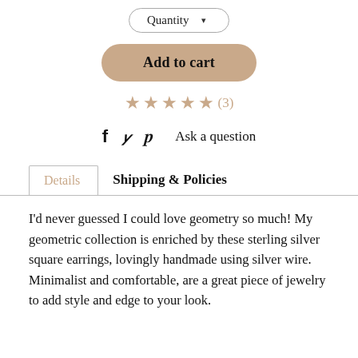Quantity ▾
Add to cart
★★★★★(3)
f  🐦  p  Ask a question
Details    Shipping & Policies
I'd never guessed I could love geometry so much! My geometric collection is enriched by these sterling silver square earrings, lovingly handmade using silver wire.
Minimalist and comfortable, are a great piece of jewelry to add style and edge to your look.